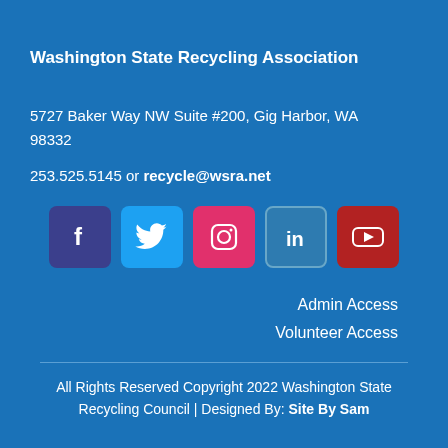Washington State Recycling Association
5727 Baker Way NW Suite #200, Gig Harbor, WA 98332
253.525.5145 or recycle@wsra.net
[Figure (infographic): Row of 5 social media icons: Facebook (dark blue-purple), Twitter (sky blue), Instagram (pink/red), LinkedIn (blue with border), YouTube (dark red)]
Admin Access
Volunteer Access
All Rights Reserved Copyright 2022 Washington State Recycling Council | Designed By: Site By Sam